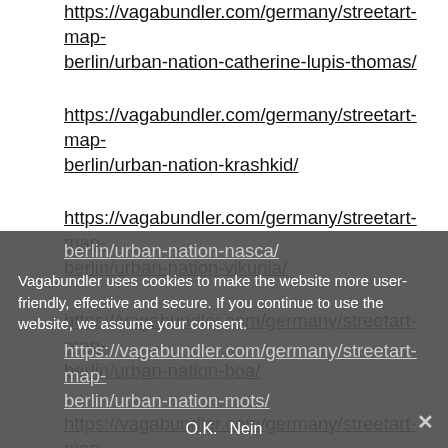https://vagabundler.com/germany/streetart-map-berlin/urban-nation-catherine-lupis-thomas/
https://vagabundler.com/germany/streetart-map-berlin/urban-nation-krashkid/
https://vagabundler.com/germany/streetart-map-berlin/urban-nation-vikunia/
https://vagabundler.com/germany/streetart-map-berlin/urban-nation-boa/
https://vagabundler.com/germany/streetart-map-berlin/urban-nation-nasca/
Vagabundler uses cookies to make the website more user-friendly, effective and secure. If you continue to use the website, we assume your consent.
https://vagabundler.com/germany/streetart-map-berlin/urban-nation-mots/
O.K.  Nein